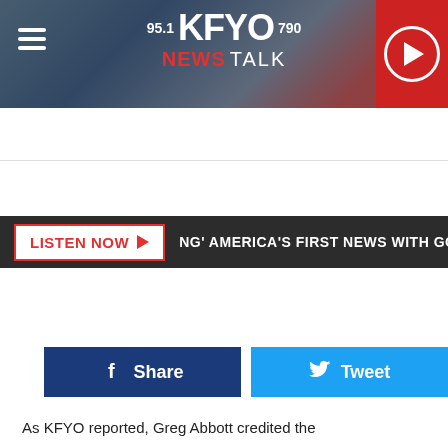[Figure (logo): KFYO 95.1 / 790 News Talk radio station header banner with hamburger menu, logo, and play button]
LISTEN NOW ▶  NG' AMERICA'S FIRST NEWS WITH GORDON DEAL
[Figure (infographic): Facebook Share button (dark blue) and Twitter Tweet button (cyan blue) side by side]
As KFYO reported, Greg Abbott credited the